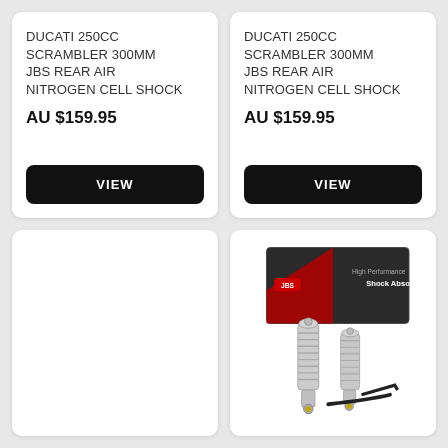DUCATI 250cc SCRAMBLER 300mm JBS REAR AIR NITROGEN CELL SHOCK
AU $159.95
VIEW
DUCATI 250cc SCRAMBLER 300mm JBS REAR AIR NITROGEN CELL SHOCK
AU $159.95
VIEW
[Figure (photo): Empty white card, no image content visible]
[Figure (photo): Photo of two chrome JBS shock absorbers with coil springs, shown next to their product box labeled 'High Performance Shock Absorbers']